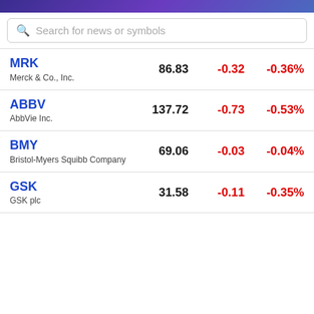Search for news or symbols
| Symbol / Name | Price | Change | % Change |
| --- | --- | --- | --- |
| MRK
Merck & Co., Inc. | 86.83 | -0.32 | -0.36% |
| ABBV
AbbVie Inc. | 137.72 | -0.73 | -0.53% |
| BMY
Bristol-Myers Squibb Company | 69.06 | -0.03 | -0.04% |
| GSK
GSK plc | 31.58 | -0.11 | -0.35% |